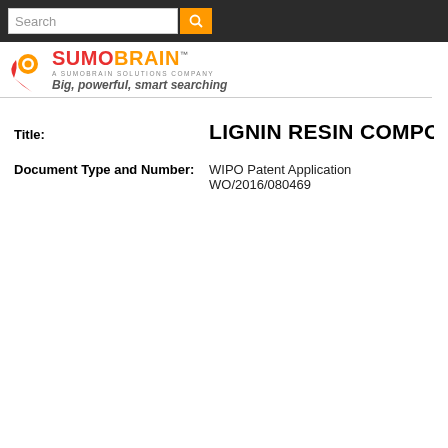Search
[Figure (logo): SumoBrain logo with circular orange/red sun icon, red SUMO and orange BRAIN text, tagline 'Big, powerful, smart searching']
Title: LIGNIN RESIN COMPOSITION
Document Type and Number: WIPO Patent Application WO/2016/080469